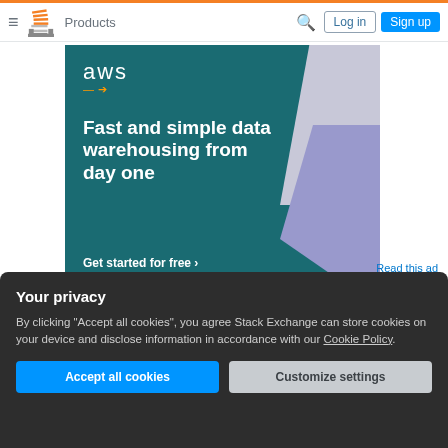Stack Exchange — Products | Log in | Sign up
[Figure (advertisement): AWS advertisement banner: 'Fast and simple data warehousing from day one. Get started for free ›' on teal background with geometric shapes]
Your privacy
By clicking "Accept all cookies", you agree Stack Exchange can store cookies on your device and disclose information in accordance with our Cookie Policy.
Accept all cookies | Customize settings
The eBay Kleinanzeigen API is not public available